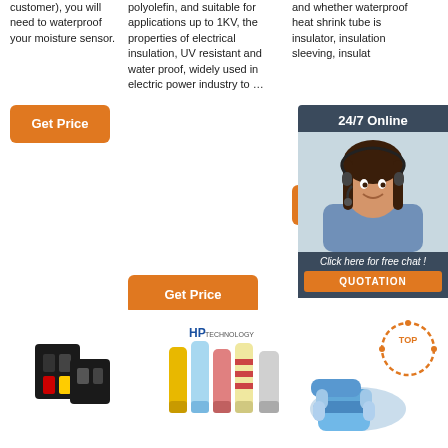customer), you will need to waterproof your moisture sensor.
polyolefin, and suitable for applications up to 1KV, the properties of electrical insulation, UV resistant and water proof, widely used in electric power industry to …
and whether waterproof heat shrink tube is insulator, insulation sleeving, insulat
Get Price
Get Price
Get
[Figure (infographic): Live chat widget with '24/7 Online' header, customer service agent photo, 'Click here for free chat!' text, and QUOTATION button]
[Figure (photo): Black electrical connector product image]
[Figure (photo): Colorful heat shrink solder connectors with HP logo]
[Figure (photo): Blue heat shrink tubing connectors with TOP badge]